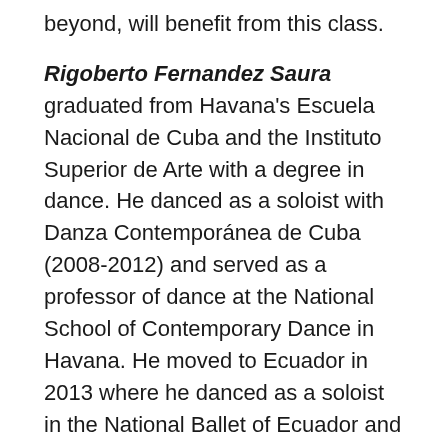beyond, will benefit from this class.
Rigoberto Fernandez Saura graduated from Havana's Escuela Nacional de Cuba and the Instituto Superior de Arte with a degree in dance. He danced as a soloist with Danza Contemporánea de Cuba (2008-2012) and served as a professor of dance at the National School of Contemporary Dance in Havana. He moved to Ecuador in 2013 where he danced as a soloist in the National Ballet of Ecuador and served as choreographic assistant to Pepe Hevia. Mr. Fernandez Saura was composition master in the Metropolitan School of Ecuador and choreographed performances for Ecuador's Urban Ballet. He recently moved to Chicago